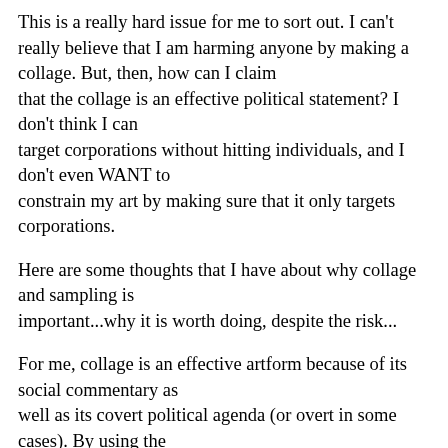This is a really hard issue for me to sort out. I can't really believe that I am harming anyone by making a collage. But, then, how can I claim that the collage is an effective political statement? I don't think I can target corporations without hitting individuals, and I don't even WANT to constrain my art by making sure that it only targets corporations.
Here are some thoughts that I have about why collage and sampling is important...why it is worth doing, despite the risk...
For me, collage is an effective artform because of its social commentary as well as its covert political agenda (or overt in some cases). By using the stuff we are bombarded with every day as source material, I am sharing my experience of the world and the things that I think about when I look and listen every day. I can make you think them too if I do my job well. And to do that effectively, I need to be able to capture anything that I